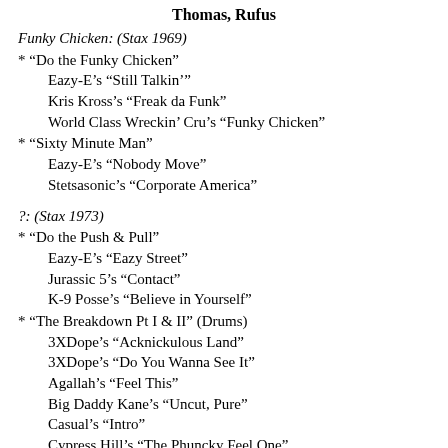Thomas, Rufus
Funky Chicken: (Stax 1969)
* “Do the Funky Chicken”
Eazy-E’s “Still Talkin’”
Kris Kross’s “Freak da Funk”
World Class Wreckin’ Cru’s “Funky Chicken”
* “Sixty Minute Man”
Eazy-E’s “Nobody Move”
Stetsasonic’s “Corporate America”
?: (Stax 1973)
* “Do the Push & Pull”
Eazy-E’s “Eazy Street”
Jurassic 5’s “Contact”
K-9 Posse’s “Believe in Yourself”
* “The Breakdown Pt I & II” (Drums)
3XDope’s “Acknickulous Land”
3XDope’s “Do You Wanna See It”
Agallah’s “Feel This”
Big Daddy Kane’s “Uncut, Pure”
Casual’s “Intro”
Cypress Hill’s “The Phuncky Feel One”
De la Soul’s “WRMS’s Dedication to the Bitty”
Doug E Fresh’s “Gettin Ready”
Eazy-E’s “Eazi-Er Said Than Dunn”